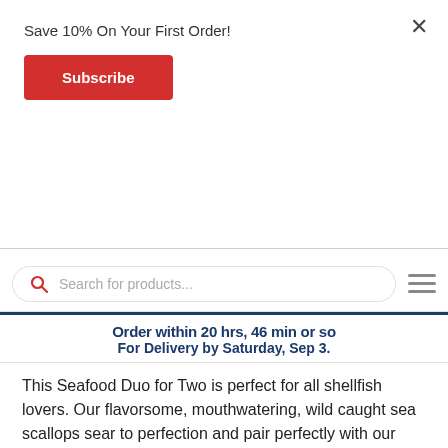Save 10% On Your First Order!
Subscribe
×
[Figure (screenshot): Search bar with red magnifying glass icon and placeholder text 'Search for products...' with hamburger menu icon on right]
Order within 20 hrs, 46 min or so For Delivery by Saturday, Sep 3.
This Seafood Duo for Two is perfect for all shellfish lovers. Our flavorsome, mouthwatering, wild caught sea scallops sear to perfection and pair perfectly with our delicious and succulent Maine lobster tails. Proud products of the USA.
Product Details:
Wild Caught Maine Lobster Tails